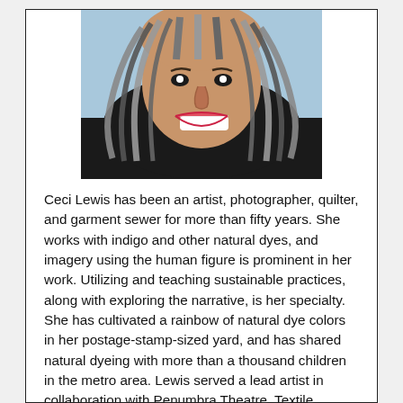[Figure (photo): Close-up photo of a smiling woman with braided/dreadlocked gray and black hair, wearing a black top, light blue background]
Ceci Lewis has been an artist, photographer, quilter, and garment sewer for more than fifty years. She works with indigo and other natural dyes, and imagery using the human figure is prominent in her work. Utilizing and teaching sustainable practices, along with exploring the narrative, is her specialty. She has cultivated a rainbow of natural dye colors in her postage-stamp-sized yard, and has shared natural dyeing with more than a thousand children in the metro area. Lewis served a lead artist in collaboration with Penumbra Theatre, Textile Center, and many talented quilters for “Black Nativity”. Her quilt, New World, is part of the Minnesota